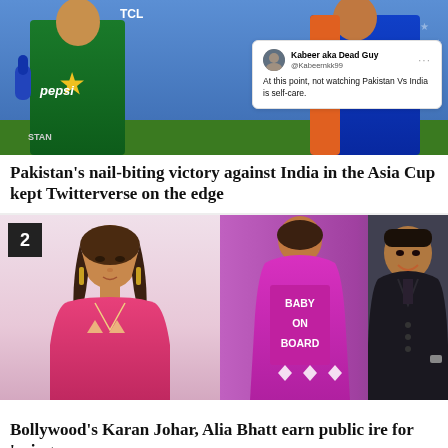[Figure (photo): Cricket match photo showing Pakistan player in green jersey with Pepsi logo and TCL branding, and India player in blue jersey, with a Twitter/X tweet card overlay from user 'Kabeer aka Dead Guy' (@Kabeernkk99) saying 'At this point, not watching Pakistan Vs India is self-care.']
Pakistan's nail-biting victory against India in the Asia Cup kept Twitterverse on the edge
[Figure (photo): Two-panel image: left panel shows Bollywood actress Alia Bhatt in a pink kurta outfit; right panel shows a woman in a magenta outfit with 'BABY ON BOARD' written on the back, and Karan Johar in a black suit smiling]
Bollywood's Karan Johar, Alia Bhatt earn public ire for 'using